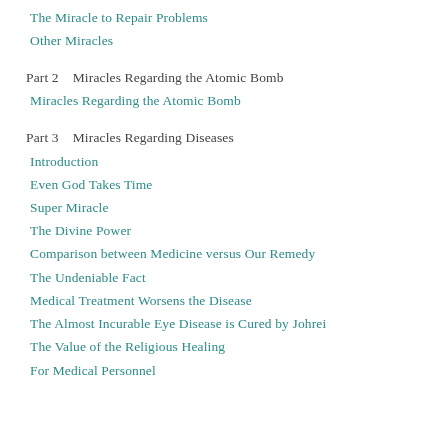The Miracle to Repair Problems
Other Miracles
Part 2    Miracles Regarding the Atomic Bomb
Miracles Regarding the Atomic Bomb
Part 3    Miracles Regarding Diseases
Introduction
Even God Takes Time
Super Miracle
The Divine Power
Comparison between Medicine versus Our Remedy
The Undeniable Fact
Medical Treatment Worsens the Disease
The Almost Incurable Eye Disease is Cured by Johrei
The Value of the Religious Healing
For Medical Personnel